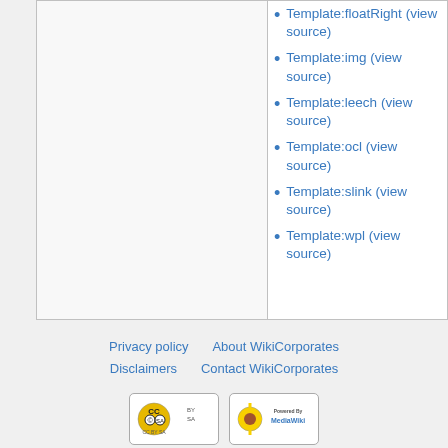Template:floatRight (view source)
Template:img (view source)
Template:leech (view source)
Template:ocl (view source)
Template:slink (view source)
Template:wpl (view source)
Privacy policy   About WikiCorporates   Disclaimers   Contact WikiCorporates